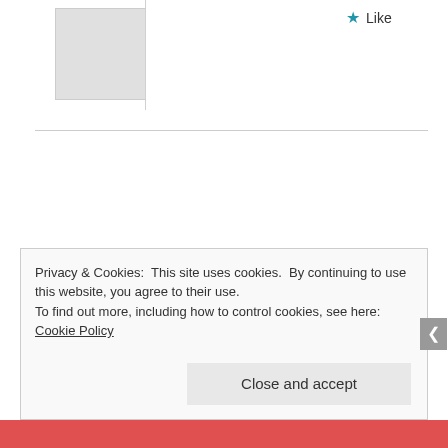[Figure (other): Like button with blue star icon and 'Like' text]
MINUSTHECYNIC   July 30, 2016 at 11:35 PM   LOG IN TO REPLY
Thanks for your support. Please let me know if you want me to blog about anything specific. 😀
Privacy & Cookies: This site uses cookies. By continuing to use this website, you agree to their use.
To find out more, including how to control cookies, see here: Cookie Policy
Close and accept